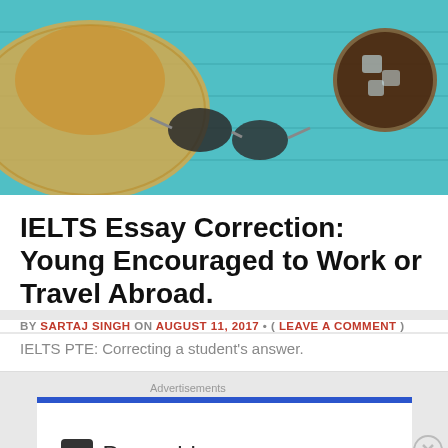[Figure (photo): Hero image showing a straw hat, sunglasses, and a glass of iced drink on a teal wooden surface, suggesting travel theme.]
IELTS Essay Correction: Young Encouraged to Work or Travel Abroad.
BY SARTAJ SINGH ON AUGUST 11, 2017 • ( LEAVE A COMMENT )
IELTS PTE: Correcting a student's answer.
Advertisements
[Figure (screenshot): Pressable advertisement banner with blue header bar and Pressable logo.]
Advertisements
[Figure (screenshot): Pocket Casts advertisement: red banner reading 'An app by listeners, for listeners.' with Pocket Casts logo.]